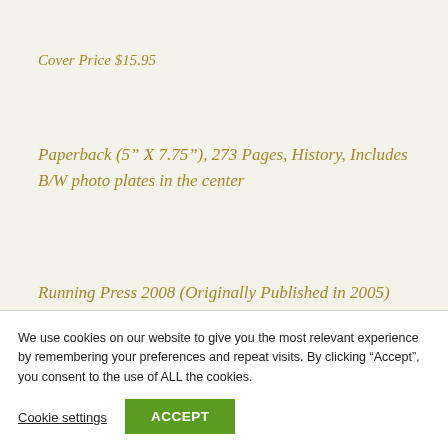Cover Price $15.95
Paperback (5” X 7.75”), 273 Pages, History, Includes B/W photo plates in the center
Running Press 2008 (Originally Published in 2005)
“Between the eighth and eleventh centuries, the Vikings emerged from their Scandinavian homelands to trade, raid and invade the coasts of Europe. Their exploits…
We use cookies on our website to give you the most relevant experience by remembering your preferences and repeat visits. By clicking “Accept”, you consent to the use of ALL the cookies.
Cookie settings
ACCEPT